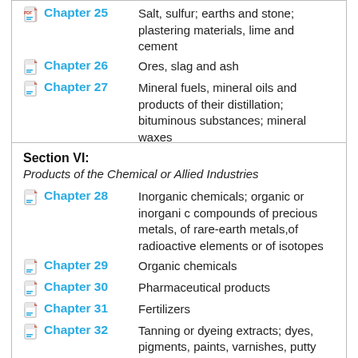Chapter 25 – Salt, sulfur; earths and stone; plastering materials, lime and cement
Chapter 26 – Ores, slag and ash
Chapter 27 – Mineral fuels, mineral oils and products of their distillation; bituminous substances; mineral waxes
Section VI:
Products of the Chemical or Allied Industries
Chapter 28 – Inorganic chemicals; organic or inorgani c compounds of precious metals, of rare-earth metals,of radioactive elements or of isotopes
Chapter 29 – Organic chemicals
Chapter 30 – Pharmaceutical products
Chapter 31 – Fertilizers
Chapter 32 – Tanning or dyeing extracts; dyes, pigments, paints, varnishes, putty and mastics
Chapter 33 – Essential oils and resinoids...